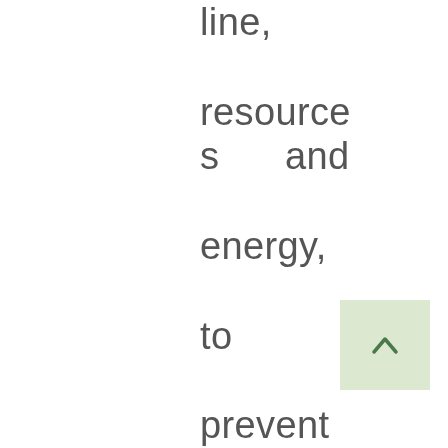line, resources and energy, to prevent legal problems and end the legal conflict efficientl